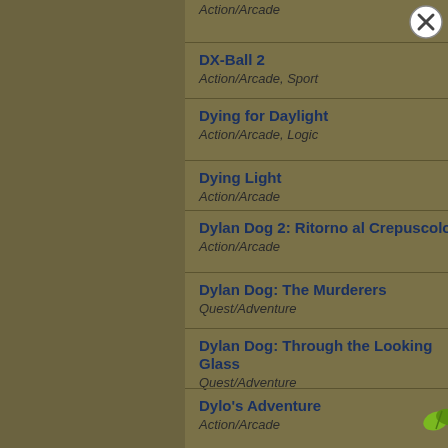Action/Arcade
DX-Ball 2
Action/Arcade, Sport
Dying for Daylight
Action/Arcade, Logic
Dying Light
Action/Arcade
Dylan Dog 2: Ritorno al Crepuscolo
Action/Arcade
Dylan Dog: The Murderers
Quest/Adventure
Dylan Dog: Through the Looking Glass
Quest/Adventure
Dylo's Adventure
Action/Arcade
Dyna Blaster
Action/Arcade, Logic
Dynamite
Action/Arcade